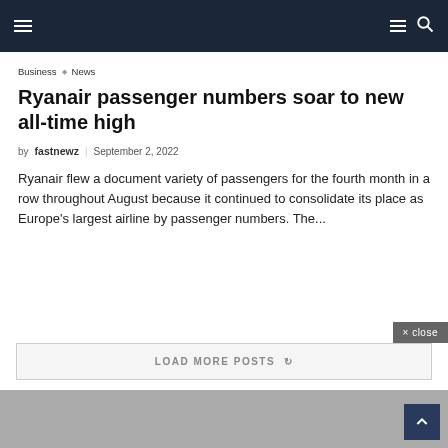Navigation bar with menu and search icons
Business  ◇  News
Ryanair passenger numbers soar to new all-time high
by fastnewz  |  September 2, 2022
Ryanair flew a document variety of passengers for the fourth month in a row throughout August because it continued to consolidate its place as Europe's largest airline by passenger numbers. The...
LOAD MORE POSTS
× close